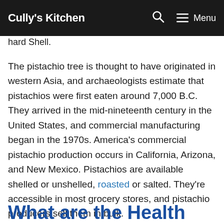Cully's Kitchen  Menu
hard Shell.
The pistachio tree is thought to have originated in western Asia, and archaeologists estimate that pistachios were first eaten around 7,000 B.C. They arrived in the mid-nineteenth century in the United States, and commercial manufacturing began in the 1970s. America's commercial pistachio production occurs in California, Arizona, and New Mexico. Pistachios are available shelled or unshelled, roasted or salted. They're accessible in most grocery stores, and pistachio producers sell them in bulk.
What are the Health Benefits of Pistachios?